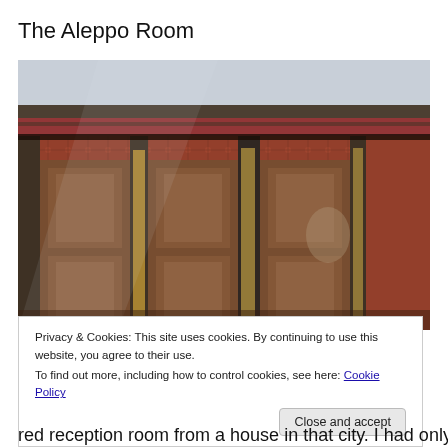The Aleppo Room
[Figure (photo): Interior photograph of the Aleppo Room showing ornately decorated wooden doors and walls covered in richly patterned red and blue Islamic geometric tilework and carved woodwork, viewed behind a glass panel with reflections visible.]
Privacy & Cookies: This site uses cookies. By continuing to use this website, you agree to their use.
To find out more, including how to control cookies, see here: Cookie Policy
red reception room from a house in that city. I had only